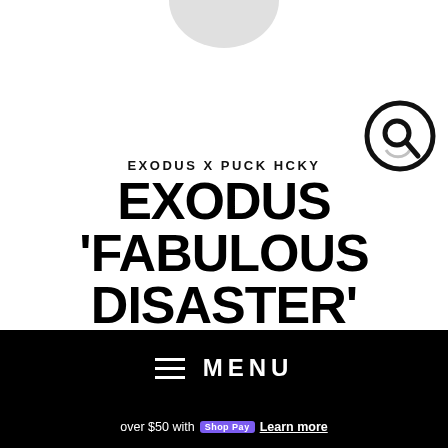[Figure (other): Partial circular white/gray shape at top center, like bottom of a logo or product image]
[Figure (other): Search icon — circle with magnifying glass, positioned top right]
EXODUS X PUCK HCKY
EXODUS 'FABULOUS DISASTER' HOCKEY STICKER
$ 8.00
[Figure (other): Black navigation menu bar with hamburger icon and MENU text]
over $50 with Shop Pay Learn more